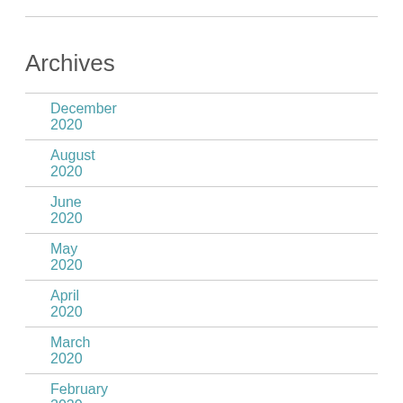Archives
December 2020
August 2020
June 2020
May 2020
April 2020
March 2020
February 2020
January 2020